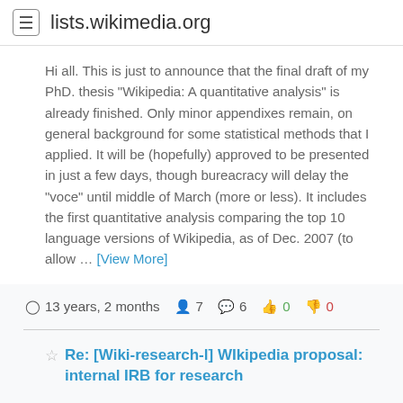lists.wikimedia.org
Hi all. This is just to announce that the final draft of my PhD. thesis "Wikipedia: A quantitative analysis" is already finished. Only minor appendixes remain, on general background for some statistical methods that I applied. It will be (hopefully) approved to be presented in just a few days, though bureacracy will delay the "voce" until middle of March (more or less). It includes the first quantitative analysis comparing the top 10 language versions of Wikipedia, as of Dec. 2007 (to allow … [View More]
13 years, 2 months  7  6  0  0
Re: [Wiki-research-l] WIkipedia proposal: internal IRB for research